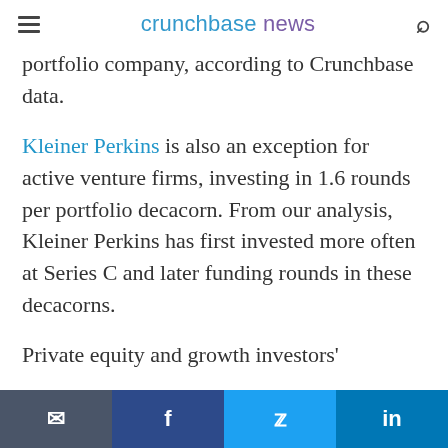crunchbase news
portfolio company, according to Crunchbase data.
Kleiner Perkins is also an exception for active venture firms, investing in 1.6 rounds per portfolio decacorn. From our analysis, Kleiner Perkins has first invested more often at Series C and later funding rounds in these decacorns.
Private equity and growth investors'
Email | Facebook | Twitter | LinkedIn